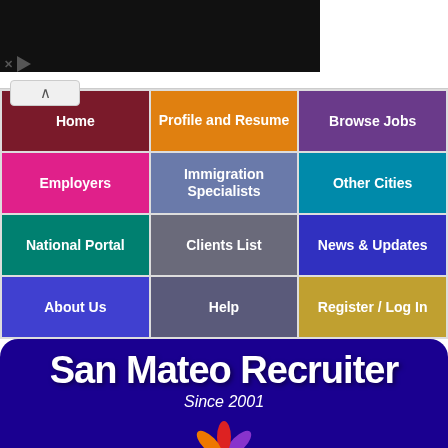[Figure (screenshot): Browser chrome with black advertisement bar and collapse button]
Home
Profile and Resume
Browse Jobs
Employers
Immigration Specialists
Other Cities
National Portal
Clients List
News & Updates
About Us
Help
Register / Log In
San Mateo Recruiter
Since 2001
[Figure (illustration): Colorful daisy/flower logo with multi-colored petals and yellow center]